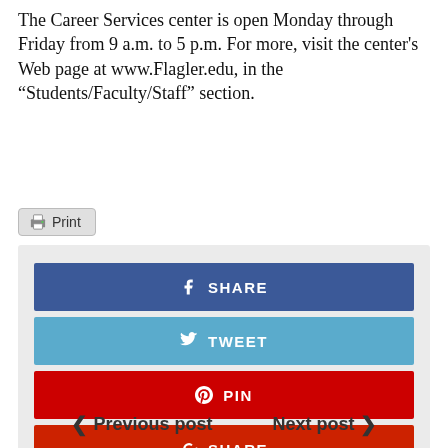The Career Services center is open Monday through Friday from 9 a.m. to 5 p.m. For more, visit the center's Web page at www.Flagler.edu, in the “Students/Faculty/Staff” section.
[Figure (other): Print button with printer icon]
[Figure (infographic): Social share buttons: Facebook Share (blue), Twitter Tweet (light blue), Pinterest Pin (red), Google+ Share (dark red)]
< Previous post    Next post >